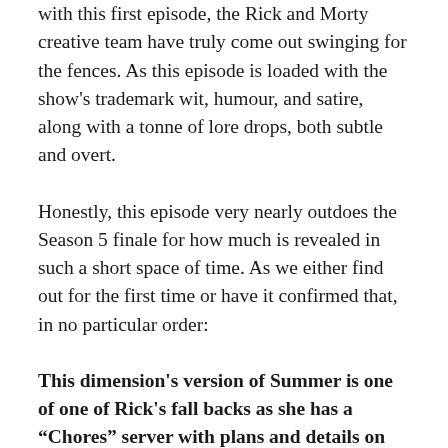with this first episode, the Rick and Morty creative team have truly come out swinging for the fences. As this episode is loaded with the show's trademark wit, humour, and satire, along with a tonne of lore drops, both subtle and overt.
Honestly, this episode very nearly outdoes the Season 5 finale for how much is revealed in such a short space of time. As we either find out for the first time or have it confirmed that, in no particular order:
This dimension's version of Summer is one of one of Rick's fall backs as she has a “Chores” server with plans and details on what to do in specific situations.
It’s not that Space Beth didn’t care about her family, it’s just in her mind, that was what the clone was for.